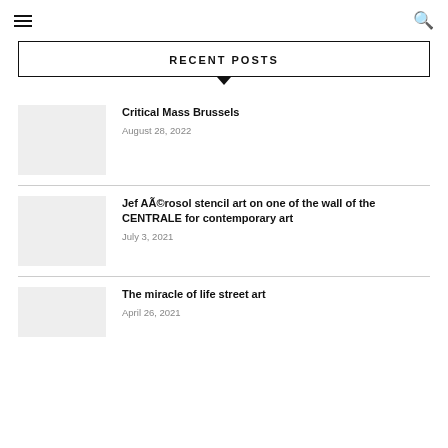≡  🔍
RECENT POSTS
Critical Mass Brussels
August 28, 2022
Jef AÃ©rosol stencil art on one of the wall of the CENTRALE for contemporary art
July 3, 2021
The miracle of life street art
April 26, 2021